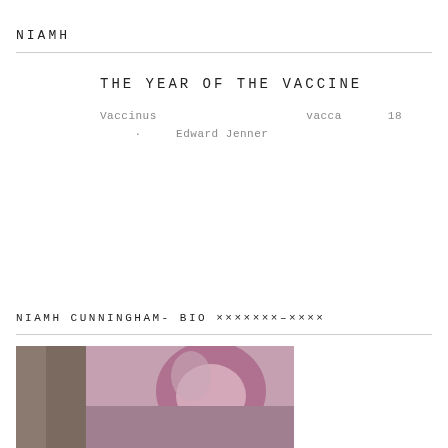NIAMH
THE YEAR OF THE VACCINE
Vaccinus　　　　　　　　　　　　　vacca　　　　　18　　　　　　　　　·　　Edward Jenner
NIAMH CUNNINGHAM- BIO ×××××××–××××
[Figure (photo): Portrait photo of a person, partially visible, with pink/purple tones]